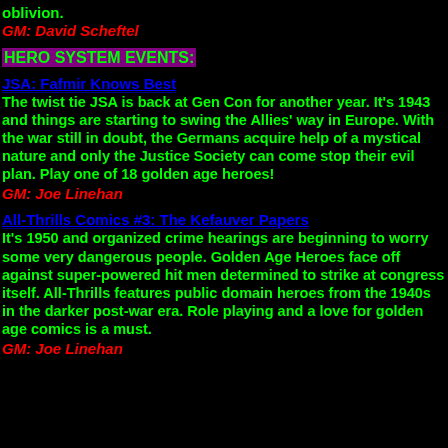oblivion.
GM: David Scheftel
HERO SYSTEM EVENTS:
JSA: Fafmir Knows Best
The twist tie JSA is back at Gen Con for another year. It's 1943 and things are starting to swing the Allies' way in Europe. With the war still in doubt, the Germans acquire help of a mystical nature and only the Justice Society can come stop their evil plan. Play one of 18 golden age heroes!
GM: Joe Linehan
All-Thrills Comics #3: The Kefauver Papers
It's 1950 and organized crime hearings are beginning to worry some very dangerous people. Golden Age Heroes face off against super-powered hit men determined to strike at congress itself. All-Thrills features public domain heroes from the 1940s in the darker post-war era. Role playing and a love for golden age comics is a must.
GM: Joe Linehan